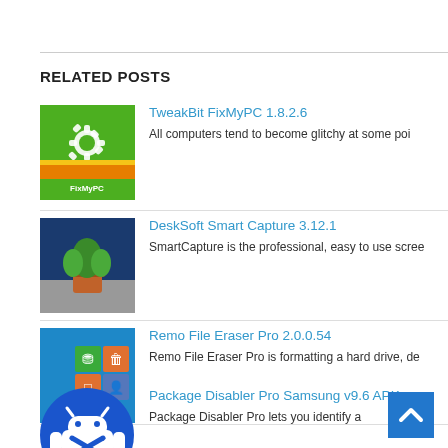RELATED POSTS
TweakBit FixMyPC 1.8.2.6 — All computers tend to become glitchy at some poi…
DeskSoft Smart Capture 3.12.1 — SmartCapture is the professional, easy to use scree…
Remo File Eraser Pro 2.0.0.54 — Remo File Eraser Pro is formatting a hard drive, de…
Package Disabler Pro Samsung v9.6 APK — Package Disabler Pro lets you identify a…ble…
[Figure (screenshot): Back to top arrow button (blue square with white upward chevron)]